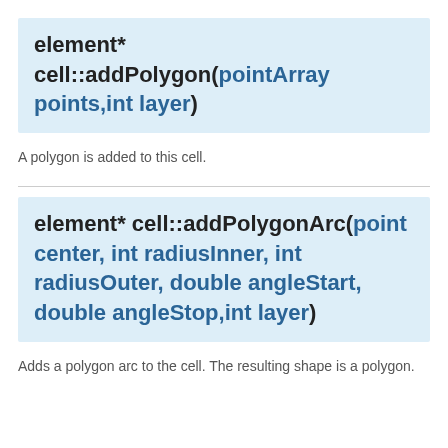element* cell::addPolygon(pointArray points,int layer)
A polygon is added to this cell.
element* cell::addPolygonArc(point center, int radiusInner, int radiusOuter, double angleStart, double angleStop,int layer)
Adds a polygon arc to the cell. The resulting shape is a polygon.